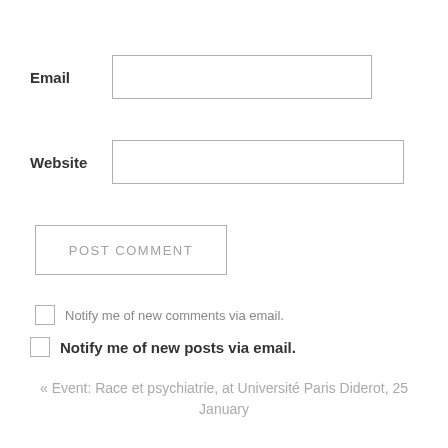Email [input field]
Website [input field]
POST COMMENT
Notify me of new comments via email.
Notify me of new posts via email.
« Event: Race et psychiatrie, at Université Paris Diderot, 25 January